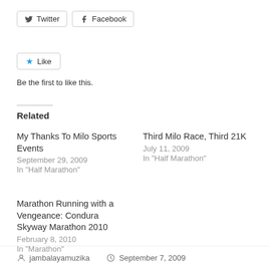[Figure (other): Twitter and Facebook social share buttons]
[Figure (other): Like button with star icon]
Be the first to like this.
Related
My Thanks To Milo Sports Events
September 29, 2009
In "Half Marathon"
Third Milo Race, Third 21K
July 11, 2009
In "Half Marathon"
Marathon Running with a Vengeance: Condura Skyway Marathon 2010
February 8, 2010
In "Marathon"
jambalayamuzika   September 7, 2009